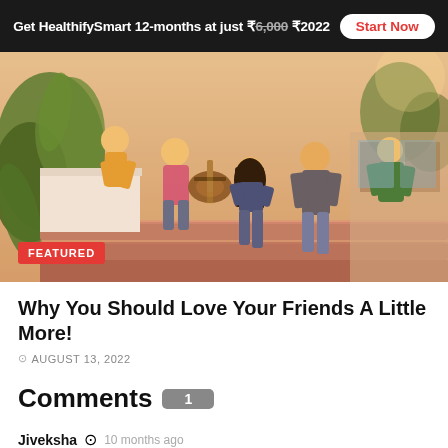Get HealthifySmart 12-months at just ₹6,000 ₹2022  Start Now
[Figure (photo): Group of young friends sitting on outdoor steps, one playing guitar, others chatting and laughing in warm sunlight. FEATURED badge overlaid at bottom left.]
Why You Should Love Your Friends A Little More!
AUGUST 13, 2022
Comments 1
Jiveksha  10 months ago